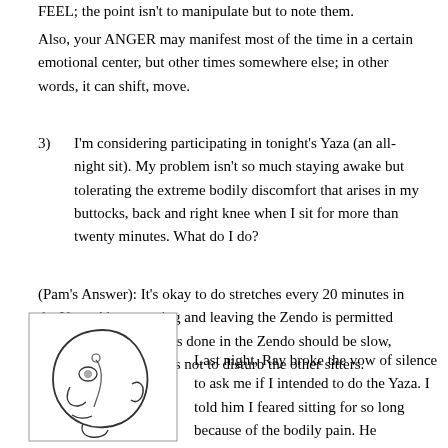FEEL; the point isn't to manipulate but to note them.
Also, your ANGER may manifest most of the time in a certain emotional center, but other times somewhere else; in other words, it can shift, move.
3)  I'm considering participating in tonight's Yaza (an all-night sit). My problem isn't so much staying awake but tolerating the extreme bodily discomfort that arises in my buttocks, back and right knee when I sit for more than twenty minutes. What do I do?
(Pam's Answer): It's okay to do stretches every 20 minutes in the Yaza. Also, entering and leaving the Zendo is permitted during a Yaza. Stretches done in the Zendo should be slow, mindful and silent so as not to disturb the other sitters.
[Figure (illustration): A hand-drawn sketch of a bald human head in profile, facing left, showing the skull and some facial features in simple line art.]
Last night, Ray broke the vow of silence to ask me if I intended to do the Yaza. I told him I feared sitting for so long because of the bodily pain. He